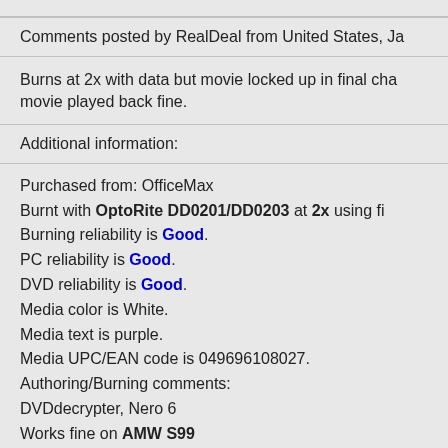Comments posted by RealDeal from United States, Ja
Burns at 2x with data but movie locked up in final cha movie played back fine.
Additional information:
Purchased from: OfficeMax
Burnt with OptoRite DD0201/DD0203 at 2x using fi
Burning reliability is Good.
PC reliability is Good.
DVD reliability is Good.
Media color is White.
Media text is purple.
Media UPC/EAN code is 049696108027.
Authoring/Burning comments:
DVDdecrypter, Nero 6
Works fine on AMW S99
Works fine on Toshiba SD2715